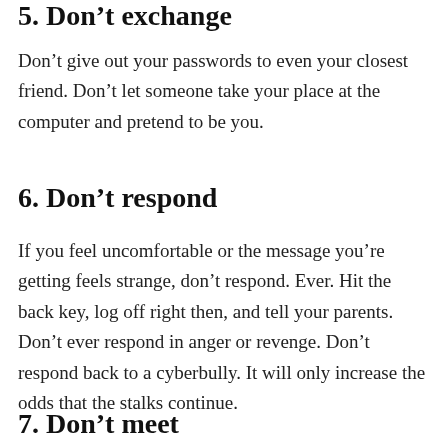5. Don't exchange
Don't give out your passwords to even your closest friend. Don't let someone take your place at the computer and pretend to be you.
6. Don't respond
If you feel uncomfortable or the message you're getting feels strange, don't respond. Ever. Hit the back key, log off right then, and tell your parents. Don't ever respond in anger or revenge. Don't respond back to a cyberbully. It will only increase the odds that the stalks continue.
7. Don't meet